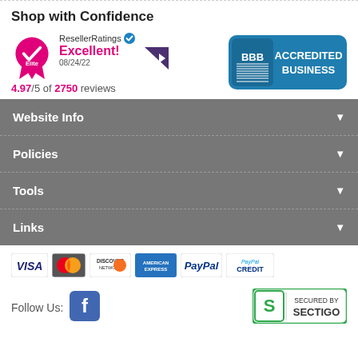Shop with Confidence
[Figure (logo): ResellerRatings Elite badge with pink medal and checkmark, showing Excellent! 08/24/22 rating]
4.97/5 of 2750 reviews
[Figure (logo): BBB Accredited Business badge in blue]
Website Info
Policies
Tools
Links
[Figure (logo): Payment method icons: VISA, MasterCard, Discover, American Express, PayPal, PayPal Credit]
Follow Us:
[Figure (logo): Facebook icon]
[Figure (logo): Secured by Sectigo badge]